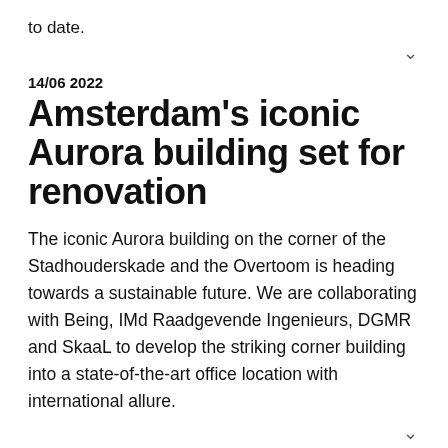to date.
∨
14/06 2022
Amsterdam's iconic Aurora building set for renovation
The iconic Aurora building on the corner of the Stadhouderskade and the Overtoom is heading towards a sustainable future. We are collaborating with Being, IMd Raadgevende Ingenieurs, DGMR and SkaaL to develop the striking corner building into a state-of-the-art office location with international allure.
∨
03/06 2022